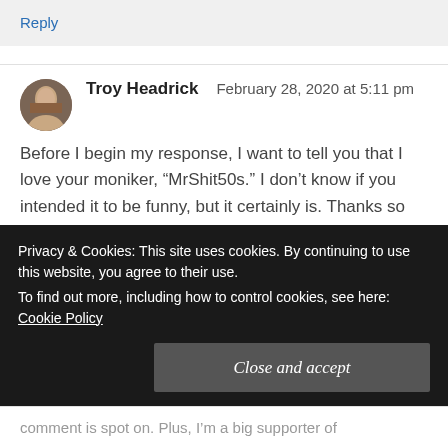Reply
Troy Headrick   February 28, 2020 at 5:11 pm
Before I begin my response, I want to tell you that I love your moniker, “MrShit50s.” I don’t know if you intended it to be funny, but it certainly is. Thanks so much for turning me on to the Josh Cohen book. Sounds like something I
Privacy & Cookies: This site uses cookies. By continuing to use this website, you agree to their use.
To find out more, including how to control cookies, see here: Cookie Policy
Close and accept
comment is spot on. Plus, I’m a big supporter of